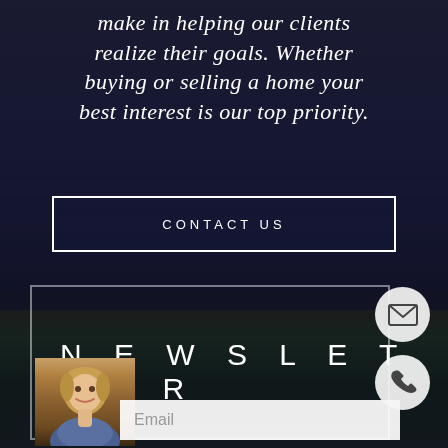make in helping our clients realize their goals. Whether buying or selling a home your best interest is our top priority.
CONTACT US
NEWSLETTER
Email